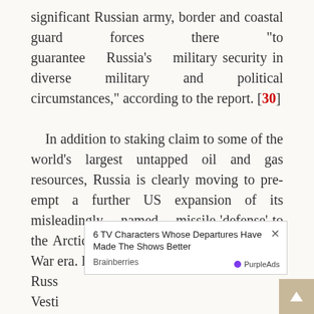significant Russian army, border and coastal guard forces there "to guarantee Russia's military security in diverse military and political circumstances," according to the report. [30]

    In addition to staking claim to some of the world's largest untapped oil and gas resources, Russia is clearly moving to pre-empt a further US expansion of its misleadingly named missile 'defense' to the Arctic Circle in echoes of the old Cold War era. Last [obscured] Russ[obscured] Vesti[obscured] the Northern Sea Route through